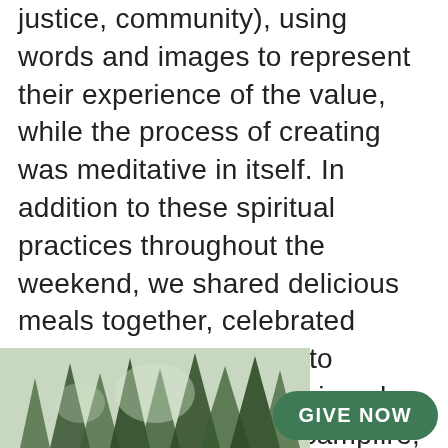justice, community), using words and images to represent their experience of the value, while the process of creating was meditative in itself. In addition to these spiritual practices throughout the weekend, we shared delicious meals together, celebrated mass, went hiking and to Seward, Alaska, and enjoyed some time around the campfire, listening to the talents of many of the JVs. Thanks also to Megan Bell, Mountain West Area Director, for accompanying us on the retreat.
[Figure (photo): Outdoor photo showing tall pine/spruce trees against a bright sky, viewed from below]